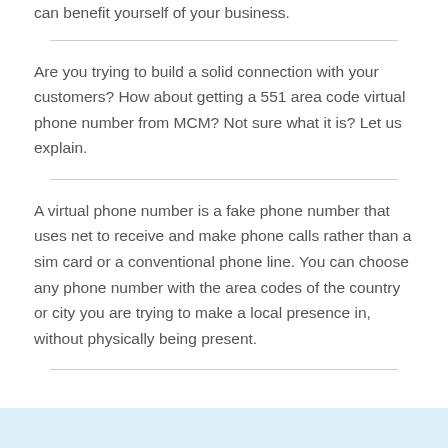can benefit yourself of your business.
Are you trying to build a solid connection with your customers? How about getting a 551 area code virtual phone number from MCM? Not sure what it is? Let us explain.
A virtual phone number is a fake phone number that uses net to receive and make phone calls rather than a sim card or a conventional phone line. You can choose any phone number with the area codes of the country or city you are trying to make a local presence in, without physically being present.